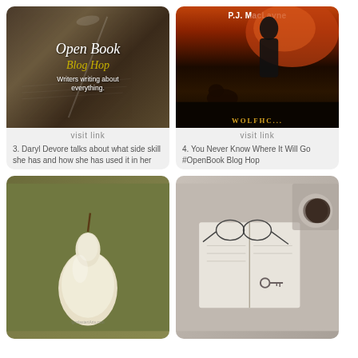[Figure (illustration): Open Book Blog Hop card with decorative script, feather quill on handwritten letters background. Text: 'Open Book Blog Hop - Writers writing about everything.']
visit link
3. Daryl Devore talks about what side skill she has and how she has used it in her
[Figure (illustration): P.J. MacLayne book cover with silhouette of man and wolf against orange/red sky. Author name at top in white text.]
visit link
4. You Never Know Where It Will Go #OpenBook Blog Hop
[Figure (illustration): Painting of a white/cream pear against olive green background]
[Figure (photo): Flat lay photo of open notebook with glasses, a key, and a coffee cup on gray/white background]